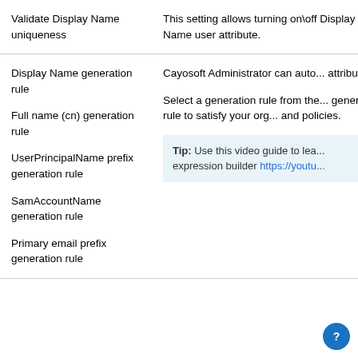| Setting | Description |
| --- | --- |
| Validate Display Name uniqueness | This setting allows turning on\off Display Name user attribute. |
| Display Name generation rule

Full name (cn) generation rule

UserPrincipalName prefix generation rule

SamAccountName generation rule

Primary email prefix generation rule | Cayosoft Administrator can auto... attributes.

Select a generation rule from the... generation rule to satisfy your org... and policies.

Tip: Use this video guide to lea... expression builder https://youtu... |